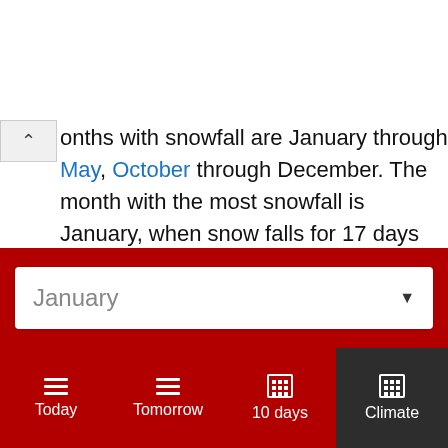onths with snowfall are January through May, October through December. The month with the most snowfall is January, when snow falls for 17 days and typically aggregates up to 245mm (9.65") of snow.
Daylight
In January, the average length of the day is 5h and 58min.
January ▼
Today | Tomorrow | 10 days | Climate